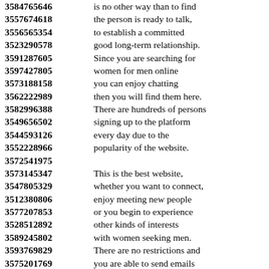3584765646 is no other way than to find
3557674618 the person is ready to talk,
3556565354 to establish a committed
3523290578 good long-term relationship.
3591287605 Since you are searching for
3597427805 women for men online
3573188158 you can enjoy chatting
3562222989 then you will find them here.
3582996388 There are hundreds of persons
3549656502 signing up to the platform
3544593126 every day due to the
3552228966 popularity of the website.
3572541975
3573145347 This is the best website,
3547805329 whether you want to connect,
3512380806 enjoy meeting new people
3577207853 or you begin to experience
3528512892 other kinds of interests
3589245802 with women seeking men.
3593769829 There are no restrictions and
3575201769 you are able to send emails
3546656796 to as many as you need
3588229303 without them finding out!
3527807922 This site is the exclusive
3517116492 for women looking for men